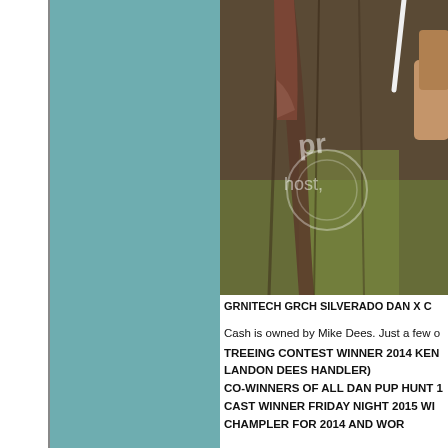[Figure (photo): Outdoor photo of a hunting dog tree-ing, showing the dog against a large moss-covered tree trunk with bark texture visible. Partial watermark text visible over the image reading 'host,']
GRNITECH GRCH SILVERADO DAN X C
Cash is owned by Mike Dees. Just a few o
TREEING CONTEST WINNER 2014 KEN LANDON DEES HANDLER)
CO-WINNERS OF ALL DAN PUP HUNT 1
CAST WINNER FRIDAY NIGHT 2015 WI
CHAMPLER FOR 2014 AND WOR [cut off]